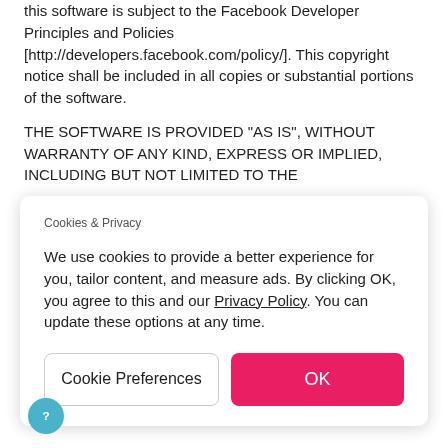this software is subject to the Facebook Developer Principles and Policies [http://developers.facebook.com/policy/]. This copyright notice shall be included in all copies or substantial portions of the software.
THE SOFTWARE IS PROVIDED "AS IS", WITHOUT WARRANTY OF ANY KIND, EXPRESS OR IMPLIED, INCLUDING BUT NOT LIMITED TO THE
[Figure (screenshot): Cookies & Privacy dialog overlay with text: 'We use cookies to provide a better experience for you, tailor content, and measure ads. By clicking OK, you agree to this and our Privacy Policy. You can update these options at any time.' Two buttons: 'Cookie Preferences' and 'OK' (red/pink). A teal help circle icon at bottom left.]